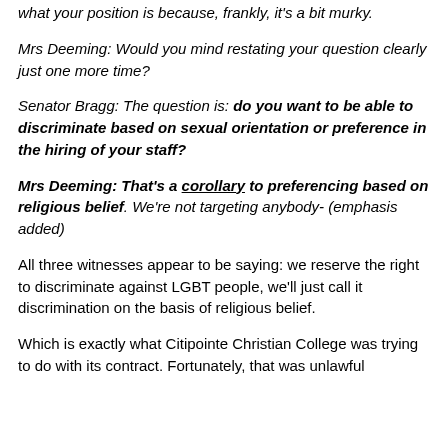what your position is because, frankly, it's a bit murky.
Mrs Deeming: Would you mind restating your question clearly just one more time?
Senator Bragg: The question is: do you want to be able to discriminate based on sexual orientation or preference in the hiring of your staff?
Mrs Deeming: That's a corollary to preferencing based on religious belief. We're not targeting anybody- (emphasis added)
All three witnesses appear to be saying: we reserve the right to discriminate against LGBT people, we'll just call it discrimination on the basis of religious belief.
Which is exactly what Citipointe Christian College was trying to do with its contract. Fortunately, that was unlawful